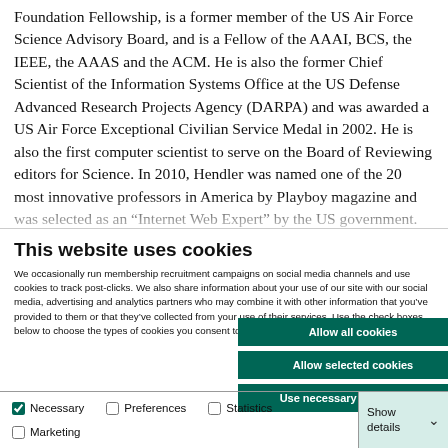Foundation Fellowship, is a former member of the US Air Force Science Advisory Board, and is a Fellow of the AAAI, BCS, the IEEE, the AAAS and the ACM. He is also the former Chief Scientist of the Information Systems Office at the US Defense Advanced Research Projects Agency (DARPA) and was awarded a US Air Force Exceptional Civilian Service Medal in 2002. He is also the first computer scientist to serve on the Board of Reviewing editors for Science. In 2010, Hendler was named one of the 20 most innovative professors in America by Playboy magazine and was selected as an “Internet Web Expert” by the US government. In
This website uses cookies
We occasionally run membership recruitment campaigns on social media channels and use cookies to track post-clicks. We also share information about your use of our site with our social media, advertising and analytics partners who may combine it with other information that you’ve provided to them or that they’ve collected from your use of their services. Use the check boxes below to choose the types of cookies you consent to have stored on your device.
Allow all cookies
Allow selected cookies
Use necessary cookies only
Necessary | Preferences | Statistics | Marketing | Show details